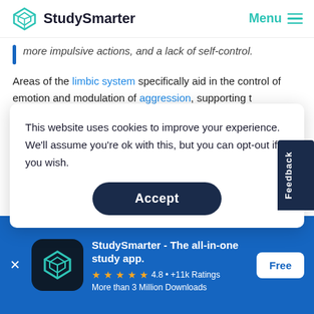StudySmarter | Menu
more impulsive actions, and a lack of self-control.
Areas of the limbic system specifically aid in the control of emotion and modulation of aggression, supporting the inhibition of impulsive behaviours. Where prefrontal with
This website uses cookies to improve your experience. We'll assume you're ok with this, but you can opt-out if you wish.
Accept
[Figure (logo): StudySmarter app icon with teal diamond/box logo]
StudySmarter - The all-in-one study app.
4.8 · +11k Ratings
More than 3 Million Downloads
Free